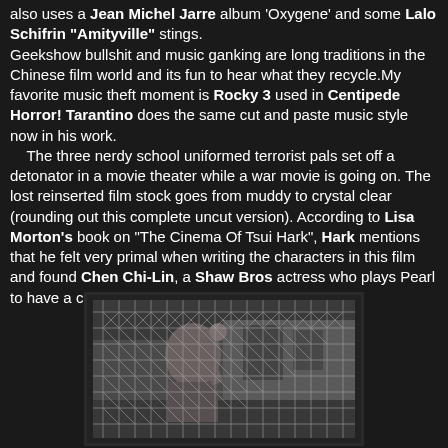also uses a Jean Michel Jarre album 'Oxygene' and some Lalo Schifrin "Amityville" stings. Geekshow bullshit and music ganking are long traditions in the Chinese film world and its fun to hear what they recycle.My favorite music theft moment is Rocky 3 used in Centipede Horror! Tarantino does the same cut and paste music style now in his work. The three nerdy school uniformed terrorist pals set off a detonator in a movie theater while a war movie is going on. The lost reinserted film stock goes from muddy to crystal clear (rounding out this complete uncut version). According to Lisa Morton's book on "The Cinema Of Tsui Hark", Hark mentions that he felt very primal when writing the characters in this film and found Chen Chi-Lin, a Shaw Bros actress who plays Pearl to have a cat-like appearance and bizarre eyes.
[Figure (photo): A person looking through a chain-link fence, black and white or dark toned photograph]